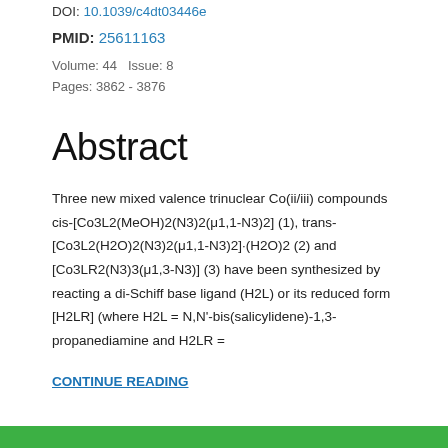DOI: 10.1039/c4dt03446e
PMID: 25611163
Volume: 44   Issue: 8
Pages: 3862 - 3876
Abstract
Three new mixed valence trinuclear Co(ii/iii) compounds cis-[Co3L2(MeOH)2(N3)2(μ1,1-N3)2] (1), trans-[Co3L2(H2O)2(N3)2(μ1,1-N3)2]·(H2O)2 (2) and [Co3LR2(N3)3(μ1,3-N3)] (3) have been synthesized by reacting a di-Schiff base ligand (H2L) or its reduced form [H2LR] (where H2L = N,N'-bis(salicylidene)-1,3-propanediamine and H2LR =
CONTINUE READING